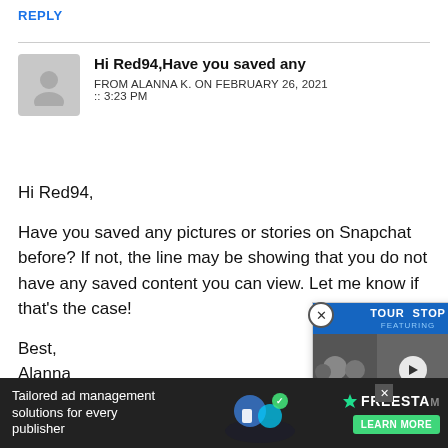REPLY
Hi Red94,Have you saved any
FROM ALANNA K. ON FEBRUARY 26, 2021 :: 3:23 PM
Hi Red94,

Have you saved any pictures or stories on Snapchat before? If not, the line may be showing that you do not have any saved content you can view. Let me know if that's the case!

Best,
Alanna
Squiggly lines lol
[Figure (screenshot): Tour Stop promotional video ad overlay with band photos and play button, Live Nation footer]
[Figure (screenshot): Bottom banner ad: Tailored ad management solutions for every publisher, Freestar branding with Learn More button]